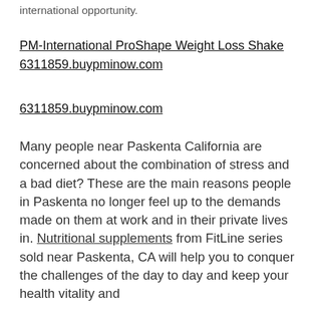international opportunity.
PM-International ProShape Weight Loss Shake
6311859.buypminow.com
6311859.buypminow.com
Many people near Paskenta California are concerned about the combination of stress and a bad diet? These are the main reasons people in Paskenta no longer feel up to the demands made on them at work and in their private lives in. Nutritional supplements from FitLine series sold near Paskenta, CA will help you to conquer the challenges of the day to day and keep your health vitality and